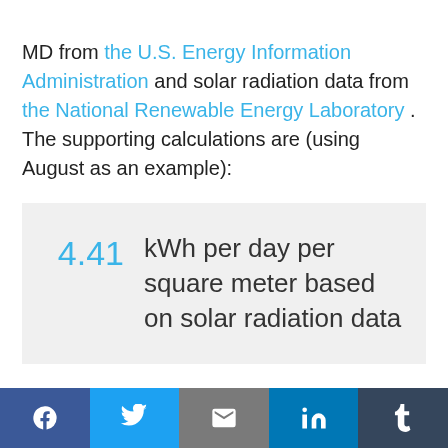MD from the U.S. Energy Information Administration and solar radiation data from the National Renewable Energy Laboratory . The supporting calculations are (using August as an example):
Social share bar: Facebook, Twitter, Email, LinkedIn, Tumblr